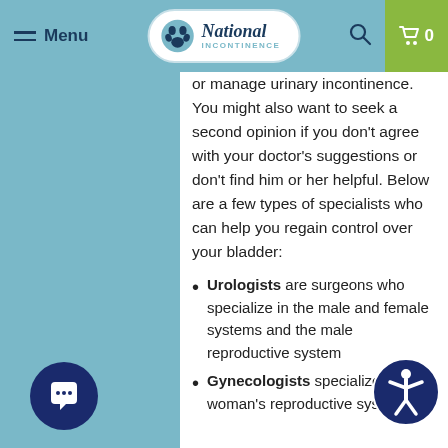Menu | National Incontinence | Search | Cart 0
or manage urinary incontinence. You might also want to seek a second opinion if you don't agree with your doctor's suggestions or don't find him or her helpful. Below are a few types of specialists who can help you regain control over your bladder:
Urologists are surgeons who specialize in the male and female systems and the male reproductive system
Gynecologists specialize in the woman's reproductive system